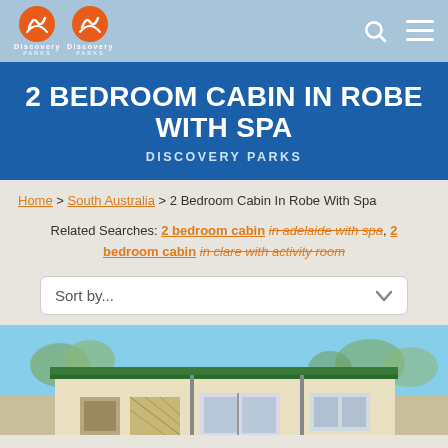Discovery Parks navigation bar with logo, search and menu icons
2 BEDROOM CABIN IN ROBE WITH SPA
DISCOVERY PARKS
Home > South Australia > 2 Bedroom Cabin In Robe With Spa
Related Searches: 2 bedroom cabin in adelaide with spa, 2 bedroom cabin in clare with activity room
Sort by...
[Figure (photo): Exterior photo of a cream/beige coloured cabin with green roof trim and lattice details, set against a blue sky with trees in the background]